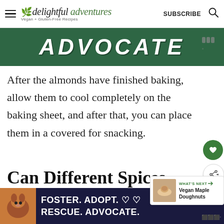delightful adventures — Vegan + Gluten-Free Recipes | SUBSCRIBE
[Figure (photo): Green banner advertisement with white bold italic text reading ADVOCATE]
After the almonds have finished baking, allow them to cool completely on the baking sheet, and after that, you can place them in a covered for snacking.
Can Different Spices
[Figure (photo): Bottom advertisement: dark blue background with dog photo, text reading FOSTER. ADOPT. RESCUE. ADVOCATE. with heart icons]